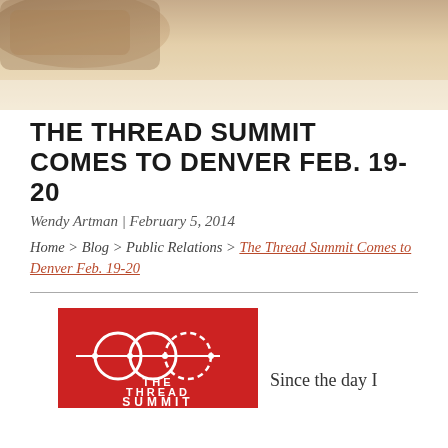[Figure (photo): Blurred background photo with warm tan/beige tones, appears to show a rolled document or paper at the top]
THE THREAD SUMMIT COMES TO DENVER FEB. 19-20
Wendy Artman | February 5, 2014
Home > Blog > Public Relations > The Thread Summit Comes to Denver Feb. 19-20
[Figure (logo): The Thread Summit logo — red square background with three interlocking circles and text THE THREAD SUMMIT below]
Since the day I